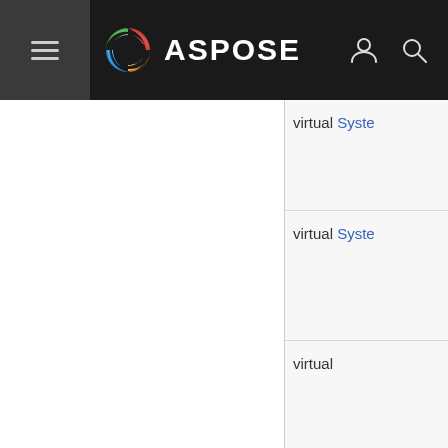[Figure (screenshot): Aspose website navigation bar with hamburger menu, Aspose logo (spiral icon + ASPOSE text), user icon, and search icon on dark background]
virtual Syste
virtual Syste
virtual
v